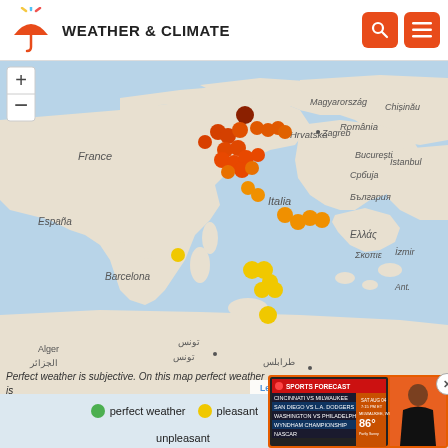WEATHER & CLIMATE
[Figure (map): Interactive map of Mediterranean region (Italy, Spain, France, Croatia, Greece, North Africa) with colored dots indicating weather quality at various locations. Dots range from dark orange (unpleasant), orange, yellow-orange (tolerable), to yellow (pleasant). Most dots clustered over Italy and surrounding areas. Map shows country/region labels: France, España, Hrvatska, Italia, Ελλάς, România, Србија, България, Magyarország, Chișinău, Istanbul, İzmir, Alger/الجزائر, تونس, طرابلس. Zoom +/- controls top left. Leaflet | © OpenStreetMap attribution bottom right.]
● perfect weather  ● pleasant  ● tolerable  ● unpleasant  poor
Perfect weather is subjective. On this map perfect weather is defined with temperatures between 2... much precipitation (less than 90mm /...
[Figure (screenshot): Partial overlay of a sports forecast TV broadcast showing: SPORTS FORECAST banner, game listings (CINCINNATI VS MILWAUKEE, SAN DIEGO VS L.A. DODGERS, WASHINGTON VS PHILADELPHIA, WYNDHAM CHAMPIONSHIP, NASCAR), 86° temperature with partly sunny icon, date SAT AUG 04 7:15 PM ET, MILWAUKEE WI label, and a female presenter standing in front of orange background.]